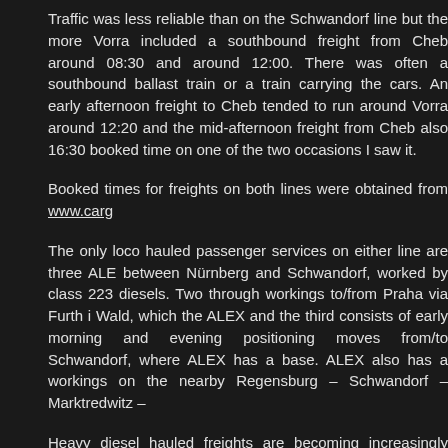Traffic was less reliable than on the Schwandorf line but the more Vorra included a southbound freight from Cheb around 08:30 and around 12:00. There was often a southbound ballast train or a train carrying the cars. An early afternoon freight to Cheb tended to run around Vorra around 12:20 and the mid-afternoon freight from Cheb also 16:30 booked time on one of the two occasions I saw it.
Booked times for freights on both lines were obtained from www.carg...
The only loco hauled passenger services on either line are three ALE between Nürnberg and Schwandorf, worked by class 223 diesels. Two through workings to/from Praha via Furth i Wald, which the ALEX and the third consists of early morning and evening positioning moves from/to Schwandorf, where ALEX has a base. ALEX also has a workings on the nearby Regensburg – Schwandorf – Marktredwitz –
Heavy diesel hauled freights are becoming increasingly difficult to find lines are rare gems with reasonable traffic volumes, excellent pho locomotives. The last point may be stretching it a bit but compared to 66s, Ludmillas are gorgeous!
One of the biggest restrictions when trying to archive freight trains i...